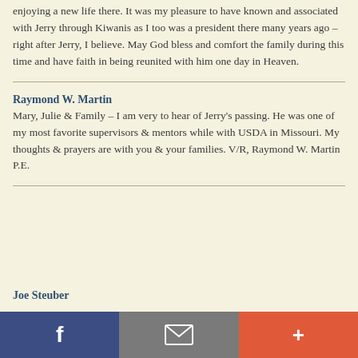enjoying a new life there. It was my pleasure to have known and associated with Jerry through Kiwanis as I too was a president there many years ago – right after Jerry, I believe. May God bless and comfort the family during this time and have faith in being reunited with him one day in Heaven.
Raymond W. Martin
Mary, Julie & Family – I am very to hear of Jerry's passing. He was one of my most favorite supervisors & mentors while with USDA in Missouri. My thoughts & prayers are with you & your families. V/R, Raymond W. Martin P.E.
Joe Steuber
[Figure (other): Social sharing footer bar with three buttons: Facebook (blue), Email/envelope (gray), and Plus/share (red-orange)]